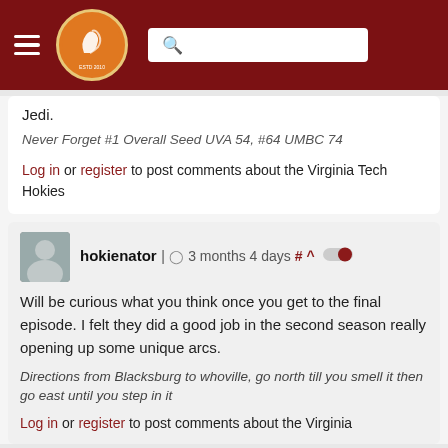[Figure (logo): The Key Play website header with hamburger menu, circular logo, and search bar]
Jedi.
Never Forget #1 Overall Seed UVA 54, #64 UMBC 74
Log in or register to post comments about the Virginia Tech Hokies
hokienator | 3 months 4 days # ^
Will be curious what you think once you get to the final episode. I felt they did a good job in the second season really opening up some unique arcs.
Directions from Blacksburg to whoville, go north till you smell it then go east until you step in it
Log in or register to post comments about the Virginia